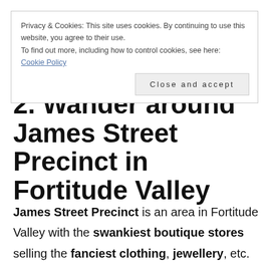Privacy & Cookies: This site uses cookies. By continuing to use this website, you agree to their use.
To find out more, including how to control cookies, see here:
Cookie Policy
Close and accept
2. Wander around James Street Precinct in Fortitude Valley
James Street Precinct is an area in Fortitude Valley with the swankiest boutique stores selling the fanciest clothing, jewellery, etc. Take your time browsing James Street, at the Calile Hotel and around the little plazas in between.